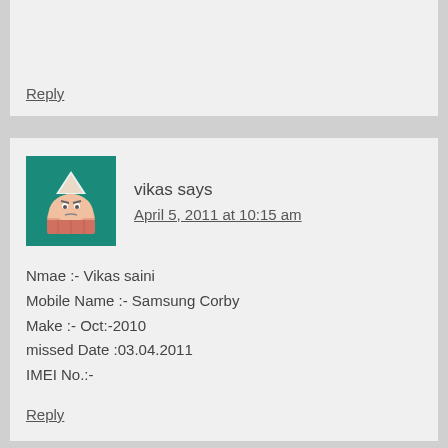Reply
vikas says
April 5, 2011 at 10:15 am
Nmae :- Vikas saini
Mobile Name :- Samsung Corby
Make :- Oct:-2010
missed Date :03.04.2011
IMEI No.:-
Reply